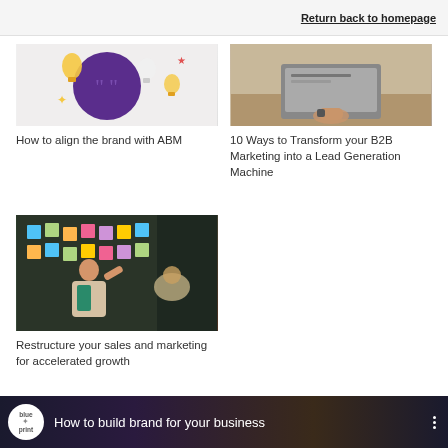Return back to homepage
[Figure (illustration): Colorful illustration with a dark purple circle and light bulbs/question marks — concept art for brand alignment]
How to align the brand with ABM
[Figure (photo): Person working at a laptop with notebook on a desk, overhead view]
10 Ways to Transform your B2B Marketing into a Lead Generation Machine
[Figure (photo): Woman presenting in front of a wall covered with colorful sticky notes, with another person seated]
Restructure your sales and marketing for accelerated growth
[Figure (screenshot): Video thumbnail showing a Blueprint logo and text: How to build brand for your business, with a three-dot menu icon, on a dark abstract background]